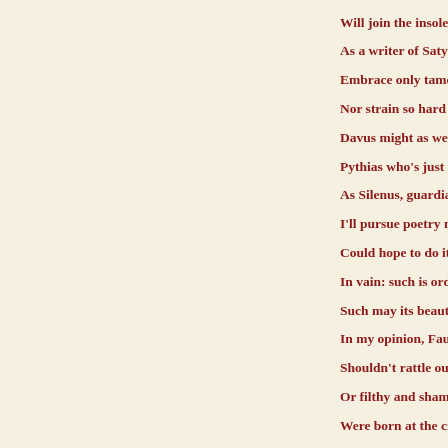Will join the insolent Sat
As a writer of Satyr play
Embrace only tame and
Nor strain so hard to avo
Davus might as well be s
Pythias who's just milke
As Silenus, guardian and
I'll pursue poetry made o
Could hope to do it, yet,
In vain: such is order an
Such may its beauty crov
In my opinion, Fauns int
Shouldn't rattle out indi
Or filthy and shameless
Were born at the crossro